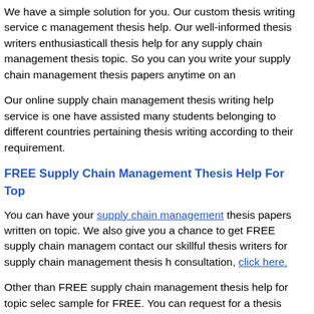We have a simple solution for you. Our custom thesis writing service offers supply chain management thesis help. Our well-informed thesis writers enthusiastically provide thesis help for any supply chain management thesis topic. So you can easily get help you write your supply chain management thesis papers anytime on any topic.
Our online supply chain management thesis writing help service is one of the best. We have assisted many students belonging to different countries pertaining to supply chain management thesis writing according to their requirement.
FREE Supply Chain Management Thesis Help For Top
You can have your supply chain management thesis papers written on any supply chain management topic. We also give you a chance to get FREE supply chain management thesis help. You can contact our skillful thesis writers for supply chain management thesis help for topic selection and consultation, click here.
Other than FREE supply chain management thesis help for topic selection, you can also get a thesis sample for FREE. You can request for a thesis sample to learn the structure of supply chain management thesis by clicking here.
Besides all these free services, you can order your custom supply chain management thesis written according to your specifications. Having a custom written supply chain management thesis from churchwebdesign.org.uk thesis writing service will save you from all worries.
You will get your custom written supply chain management thesis paper delivered to you before the deadline. You not only get thesis supply chain management paper but also get some freebies for your thesis papers completely FREE.